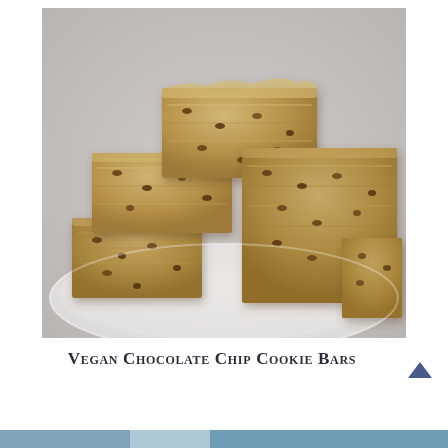[Figure (photo): Stack of vegan chocolate chip cookie bars on a white plate, showing golden-brown oat and chocolate chip texture, close-up food photography]
Vegan Chocolate Chip Cookie Bars